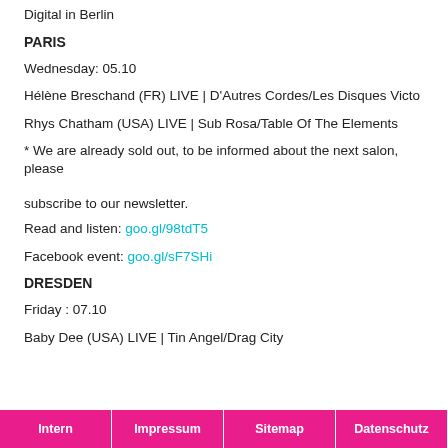Digital in Berlin
PARIS
Wednesday: 05.10
Hélène Breschand (FR) LIVE | D'Autres Cordes/Les Disques Victo
Rhys Chatham (USA) LIVE | Sub Rosa/Table Of The Elements
* We are already sold out, to be informed about the next salon, please subscribe to our newsletter.
Read and listen: goo.gl/98tdT5
Facebook event: goo.gl/sF7SHi
DRESDEN
Friday : 07.10
Baby Dee (USA) LIVE | Tin Angel/Drag City
Intern | Impressum | Sitemap | Datenschutz